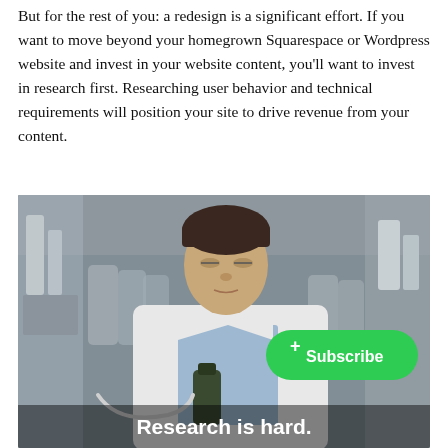But for the rest of you: a redesign is a significant effort. If you want to move beyond your homegrown Squarespace or Wordpress website and invest in your website content, you'll want to invest in research first. Researching user behavior and technical requirements will position your site to drive revenue from your content.
[Figure (photo): A man in a lab coat holding a bottle in a laboratory setting, with a green Subscribe button overlay and the subtitle 'Research is hard.' at the bottom.]